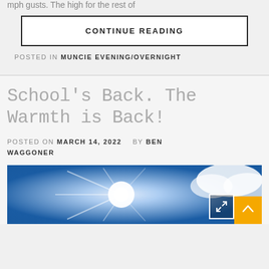mph gusts. The high for the rest of
CONTINUE READING
POSTED IN MUNCIE EVENING/OVERNIGHT
School's Back. The Warmth is Back!
POSTED ON MARCH 14, 2022   BY BEN WAGGONER
[Figure (photo): Blue sky with bright sunlight bursting through clouds]